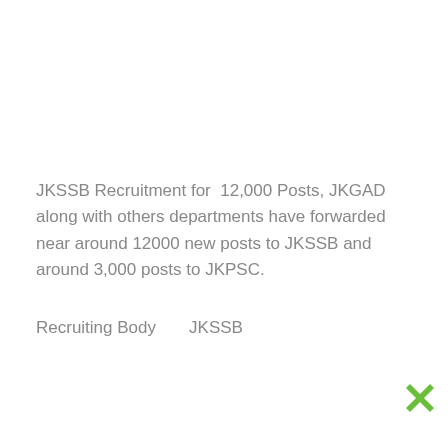JKSSB Recruitment for  12,000 Posts, JKGAD along with others departments have forwarded near around 12000 new posts to JKSSB and around 3,000 posts to JKPSC.
Recruiting Body       JKSSB